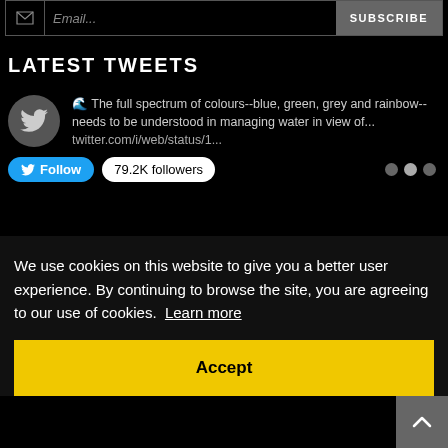[Figure (screenshot): Subscribe bar with email icon, italic placeholder text 'Email...', and SUBSCRIBE button]
LATEST TWEETS
🌊 The full spectrum of colours--blue, green, grey and rainbow-- needs to be understood in managing water in view of... twitter.com/i/web/status/1...
Follow  79.2K followers
We use cookies on this website to give you a better user experience. By continuing to browse the site, you are agreeing to our use of cookies.  Learn more
Accept